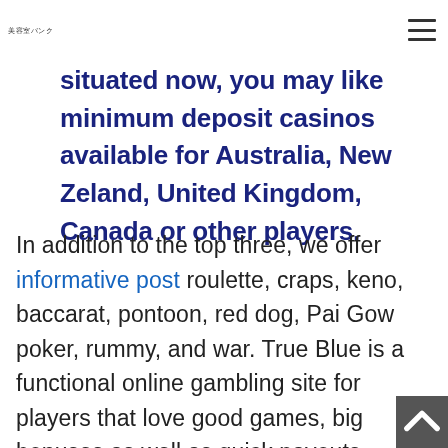美容室バンク
situated now, you may like minimum deposit casinos available for Australia, New Zeland, United Kingdom, Canada or other players.
In addition to the top three, we offer informative post roulette, craps, keno, baccarat, pontoon, red dog, Pai Gow poker, rummy, and war. True Blue is a functional online gambling site for players that love good games, big bonuses as well as quick payouts. TrueBluecasino can be accessed by anyone from anywhere an